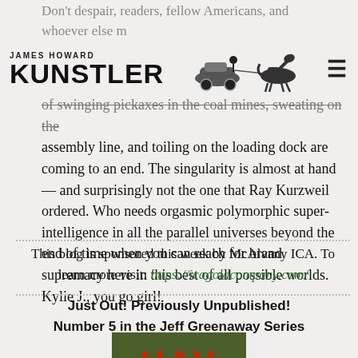JAMES HOWARD KUNSTLER
Don't despair, readers, fellow Americans, and whoever else might be out there in the shadows. Hope a— ch— hundreds years of swinging pickaxes in the coal mines, sweating on the assembly line, and toiling on the loading dock are coming to an end. The singularity is almost at hand — and surprisingly not the one that Ray Kurzweil ordered. Who needs orgasmic polymorphic super-intelligence in all the parallel universes beyond the end of time when you can reach for brand supremacy here in this best of all possible worlds. Kylie J., you go girl!
This blog is sponsored this week by McAlvany ICA. To learn more visit: https://icagoldcompany.com/
Just Out! Previously Unpublished! Number 5 in the Jeff Greenaway Series
[Figure (photo): Book cover with red text on dark olive/green background, partially visible letters]